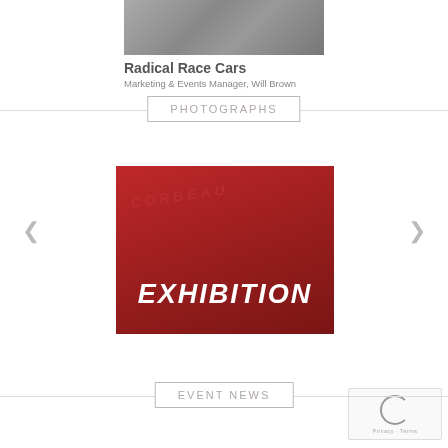[Figure (photo): Photo of race car and person being interviewed with microphone]
Radical Race Cars
Marketing & Events Manager, Will Brown
PHOTOGRAPHS
[Figure (photo): Red exhibition banner image with CORBEAU logo and text EXHIBITION in bold white italic letters]
EVENT NEWS
[Figure (other): reCAPTCHA widget with Privacy and Terms links]